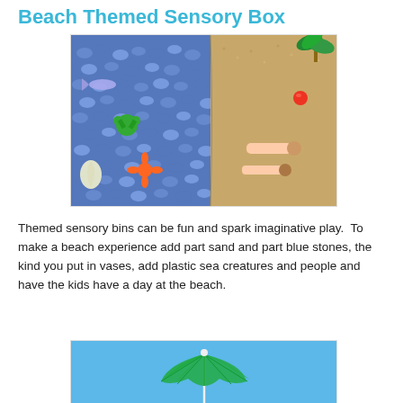Beach Themed Sensory Box
[Figure (photo): Overhead view of a beach-themed sensory bin showing blue decorative stones on the left half representing the ocean with plastic sea creatures (crab, fish, starfish, turtle), and sand on the right half with toy people and palm tree.]
Themed sensory bins can be fun and spark imaginative play.  To make a beach experience add part sand and part blue stones, the kind you put in vases, add plastic sea creatures and people and have the kids have a day at the beach.
[Figure (photo): Bottom portion of a beach-themed sensory bin showing a green toy umbrella against a bright blue sky background.]